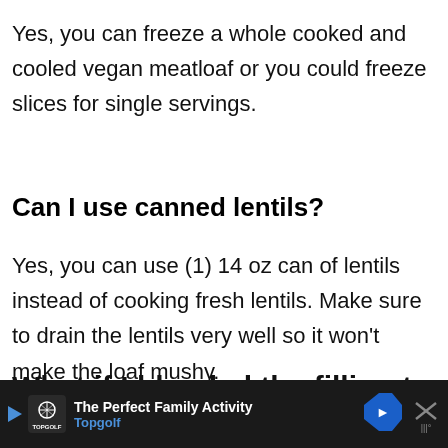Yes, you can freeze a whole cooked and cooled vegan meatloaf or you could freeze slices for single servings.
Can I use canned lentils?
Yes, you can use (1) 14 oz can of lentils instead of cooking fresh lentils. Make sure to drain the lentils very well so it won't make the loaf mushy.
What if I blended the filling too
[Figure (other): Advertisement banner at the bottom: Topgolf - The Perfect Family Activity]